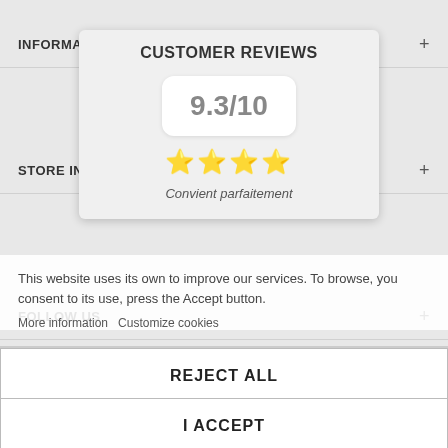INFORMATION
CUSTOMER REVIEWS
STORE INFORMATION
[Figure (other): Customer reviews widget showing score 9.3/10 with 4 gold stars and text 'Convient parfaitement']
This website uses its own to improve our services. To browse, you consent to its use, press the Accept button.
More information Customize cookies
FOLLOW US
MY ACCOUNT
REJECT ALL
I ACCEPT
NEWSLETTER
Secure payments SSL
[Figure (other): Payment method icons: PayPal, Visa Debit, Visa, Mastercard]
[Figure (other): reCAPTCHA badge with Privacy - Terms text]